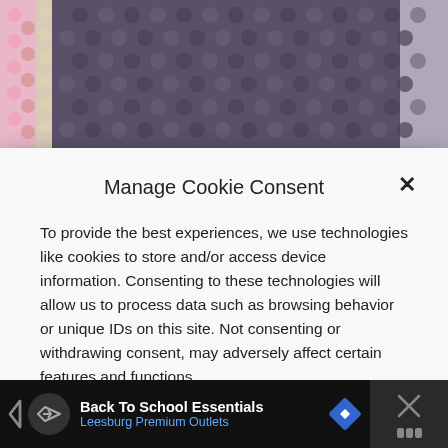[Figure (photo): Close-up photo of dark purple/grey crochet fabric with pink and cream border edges visible at top and sides]
Manage Cookie Consent
To provide the best experiences, we use technologies like cookies to store and/or access device information. Consenting to these technologies will allow us to process data such as browsing behavior or unique IDs on this site. Not consenting or withdrawing consent, may adversely affect certain features and functions.
ACCEPT
DENY
VIEW PREFERENCES
Back To School Essentials
Leesburg Premium Outlets